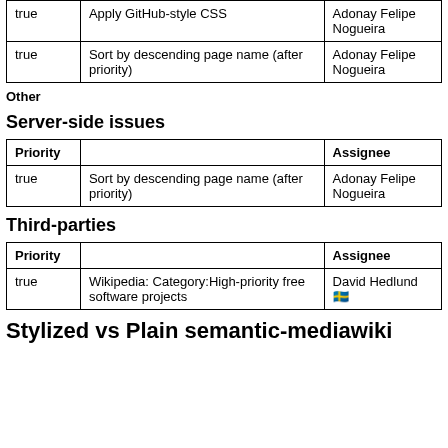| Priority |  | Assignee |
| --- | --- | --- |
| true | Apply GitHub-style CSS | Adonay Felipe Nogueira |
| true | Sort by descending page name (after priority) | Adonay Felipe Nogueira |
Other
Server-side issues
| Priority |  | Assignee |
| --- | --- | --- |
| true | Sort by descending page name (after priority) | Adonay Felipe Nogueira |
Third-parties
| Priority |  | Assignee |
| --- | --- | --- |
| true | Wikipedia: Category:High-priority free software projects | David Hedlund 🇸🇪 |
Stylized vs Plain semantic-mediawiki